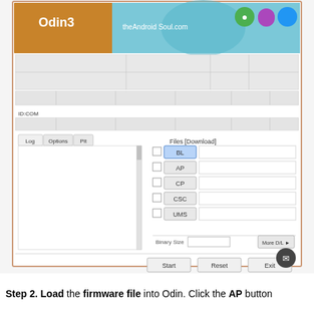[Figure (screenshot): Odin3 firmware flashing tool interface from theAndroidSoul.com showing the main window with Log, Options, Pit tabs on the left panel, and Files [Download] section on the right with BL, AP, CP, CSC, UMS buttons (AP button highlighted in blue), file path fields, Binary Size field, Reset button, Start button, and Exit button. The tool has a decorative header with the Odin3 logo and Android figures.]
Step 2. Load the firmware file into Odin. Click the AP button